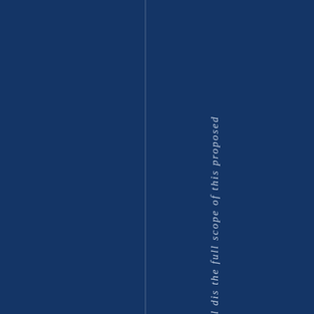[Figure (other): Dark navy blue background with a vertical dividing line and rotated italic text reading 'l dis the full scope of this proposed' running vertically down the right portion of the page.]